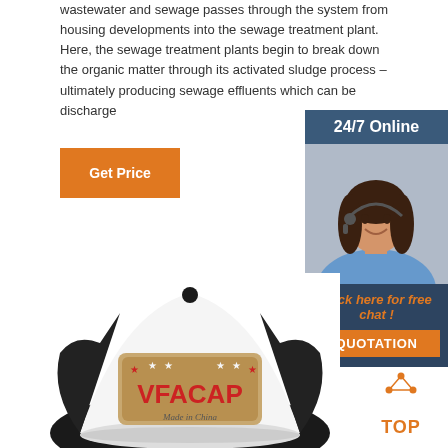wastewater and sewage passes through the system from housing developments into the sewage treatment plant. Here, the sewage treatment plants begin to break down the organic matter through its activated sludge process – ultimately producing sewage effluents which can be discharge
Get Price
[Figure (infographic): Customer service sidebar with '24/7 Online' header, photo of woman with headset, 'Click here for free chat!' text, and 'QUOTATION' orange button]
[Figure (photo): White and black VFACAP trucker cap with embroidered patch reading 'VFACAP Made in China' with star decorations]
[Figure (infographic): Orange and white TOP button with triangular dots above the text]